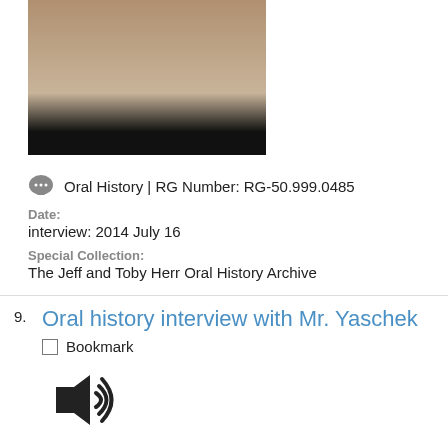[Figure (photo): Two people seated on stage in an interview/discussion setting, with paneled backdrop and projection screen]
Oral History | RG Number: RG-50.999.0485
Date:
interview: 2014 July 16
Special Collection:
The Jeff and Toby Herr Oral History Archive
Oral history interview with Mr. Yaschek
Bookmark
[Figure (illustration): Audio/speaker icon indicating an audio recording]
Oral History | Accession Number: 2017.163.72 | RG